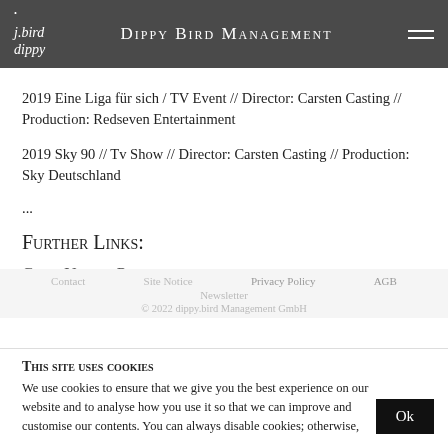Dippy Bird Management
2019 Eine Liga für sich / TV Event // Director: Carsten Casting // Production: Redseven Entertainment
2019 Sky 90 // Tv Show // Director: Carsten Casting // Production: Sky Deutschland
...
Further Links:
Crew United Profile
Leon Moralic
Contact   Site Notice   Privacy Policy   AGB   Newsletter   © 2022 dippy.bird Management GmbH
This site uses cookies
We use cookies to ensure that we give you the best experience on our website and to analyse how you use it so that we can improve and customise our contents. You can always disable cookies; otherwise,